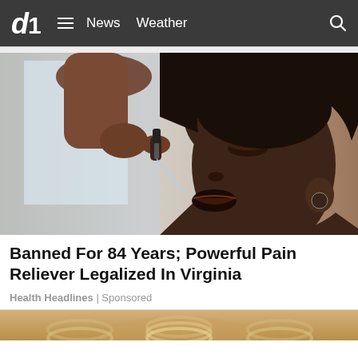CBS News | News  Weather
[Figure (photo): A Black woman tilting her head back, dropping liquid from a dropper bottle into her mouth, set against a blurred indoor background with a window and brick wall]
Banned For 84 Years; Powerful Pain Reliever Legalized In Virginia
Health Headlines | Sponsored
[Figure (photo): Partial bottom image showing what appears to be a metallic coiled spring or similar object on a golden/tan background]